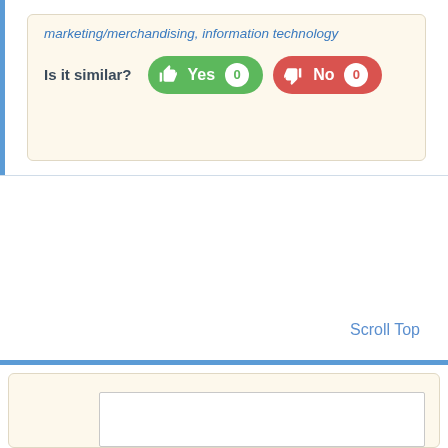marketing/merchandising, information technology
Is it similar?
[Figure (screenshot): Green Yes button with thumbs up icon and count 0, and red No button with thumbs down icon and count 0]
Scroll Top
[Figure (screenshot): Bottom card section with a white inner box on cream background, partially visible]